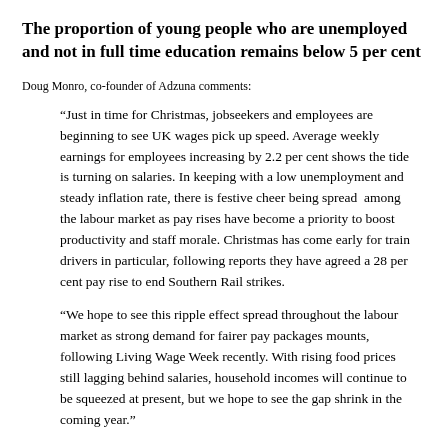The proportion of young people who are unemployed and not in full time education remains below 5 per cent
Doug Monro, co-founder of Adzuna comments:
“Just in time for Christmas, jobseekers and employees are beginning to see UK wages pick up speed. Average weekly earnings for employees increasing by 2.2 per cent shows the tide is turning on salaries. In keeping with a low unemployment and steady inflation rate, there is festive cheer being spread  among the labour market as pay rises have become a priority to boost productivity and staff morale. Christmas has come early for train drivers in particular, following reports they have agreed a 28 per cent pay rise to end Southern Rail strikes.

“We hope to see this ripple effect spread throughout the labour market as strong demand for fairer pay packages mounts, following Living Wage Week recently. With rising food prices still lagging behind salaries, household incomes will continue to be squeezed at present, but we hope to see the gap shrink in the coming year.”